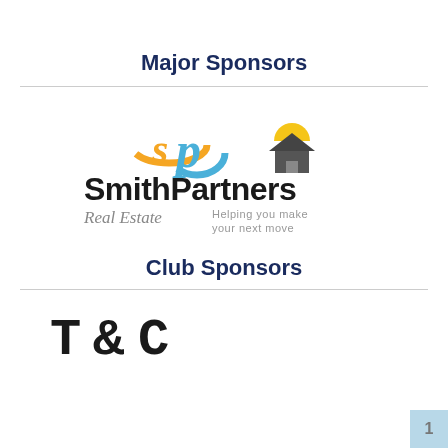Major Sponsors
[Figure (logo): SmithPartners Real Estate logo with orange and blue 'SP' script letters, a house icon with yellow sun, bold dark text 'SmithPartners', gray 'Real Estate' and 'Helping you make your next move' tagline]
Club Sponsors
[Figure (logo): T&C logo in decorative serif/old-style font, dark color]